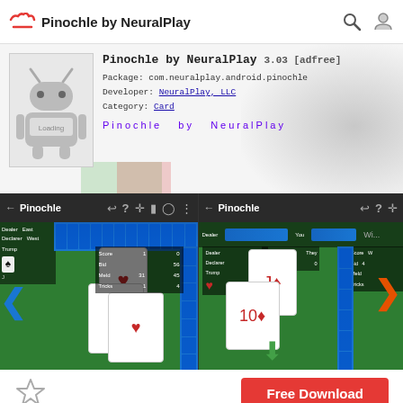Pinochle by NeuralPlay
[Figure (screenshot): App store listing for Pinochle by NeuralPlay showing app icon (Android robot), app title, package name, developer and category info, blurred background with game screenshot preview]
[Figure (screenshot): Screenshot of the Pinochle card game app in dark mode showing two phone screens side by side with a card game in progress on a green felt table]
Free Download